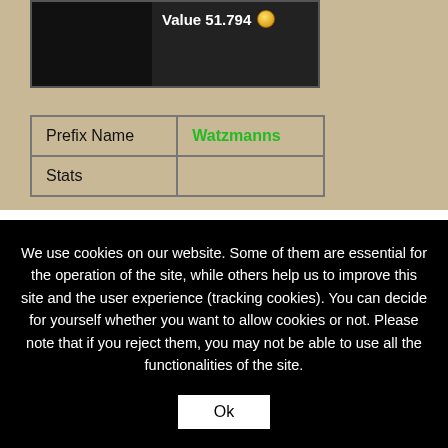[Figure (screenshot): Game UI screenshot showing 'Value 51.794' with a coin icon, dark background panels]
| Prefix Name | Watzmanns |
| --- | --- |
| Stats |  |
We use cookies on our website. Some of them are essential for the operation of the site, while others help us to improve this site and the user experience (tracking cookies). You can decide for yourself whether you want to allow cookies or not. Please note that if you reject them, you may not be able to use all the functionalities of the site.
Ok